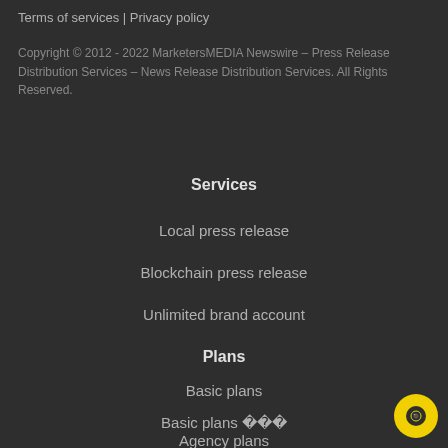Terms of services | Privacy policy
Copyright © 2012 - 2022 MarketersMEDIA Newswire – Press Release Distribution Services – News Release Distribution Services. All Rights Reserved.
Services
Local press release
Blockchain press release
Unlimited brand account
Plans
Basic plans
Basic plans 한국어
Agency plans